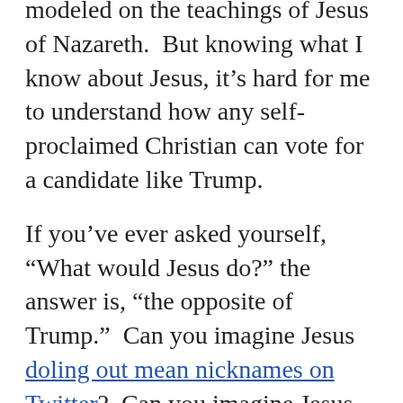modeled on the teachings of Jesus of Nazareth.  But knowing what I know about Jesus, it's hard for me to understand how any self-proclaimed Christian can vote for a candidate like Trump.
If you've ever asked yourself, "What would Jesus do?" the answer is, "the opposite of Trump."  Can you imagine Jesus doling out mean nicknames on Twitter?  Can you imagine Jesus demonizing the frightened human beings seeking refuge at our borders or the non-violent activists crusading for social justice?  Can you imagine Jesus